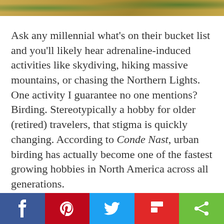[Figure (photo): Partial photo strip at top of page showing sandy/earthy texture with some green foliage on the right edge]
Ask any millennial what's on their bucket list and you'll likely hear adrenaline-induced activities like skydiving, hiking massive mountains, or chasing the Northern Lights. One activity I guarantee no one mentions? Birding. Stereotypically a hobby for older (retired) travelers, that stigma is quickly changing. According to Conde Nast, urban birding has actually become one of the fastest growing hobbies in North America across all generations.
[Figure (infographic): Social sharing bar at bottom with Facebook (blue), Pinterest (red), Twitter (light blue), Flipboard (red), and Share (green) buttons with white icons]